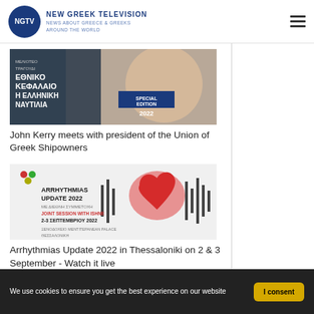NEW GREEK TELEVISION — NEWS ABOUT GREECE & GREEKS AROUND THE WORLD
[Figure (photo): A smiling woman on a book/magazine cover with Greek text and 'SPECIAL EDITION 2022']
John Kerry meets with president of the Union of Greek Shipowners
[Figure (photo): Arrhythmias Update 2022 medical conference promotional image with a red heart and event details]
Arrhythmias Update 2022 in Thessaloniki on 2 & 3 September - Watch it live
[Figure (photo): Partial view of a third article image at the bottom of the page]
We use cookies to ensure you get the best experience on our website